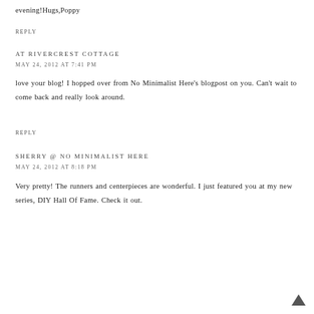evening!Hugs,Poppy
REPLY
AT RIVERCREST COTTAGE
MAY 24, 2012 AT 7:41 PM
love your blog! I hopped over from No Minimalist Here's blogpost on you. Can't wait to come back and really look around.
REPLY
SHERRY @ NO MINIMALIST HERE
MAY 24, 2012 AT 8:18 PM
Very pretty! The runners and centerpieces are wonderful. I just featured you at my new series, DIY Hall Of Fame. Check it out.